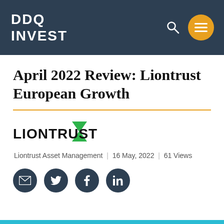DDQ INVEST
April 2022 Review: Liontrust European Growth
[Figure (logo): Liontrust logo with green arrow chevron and bold black LIONTRUST text]
Liontrust Asset Management | 16 May, 2022 | 61 Views
[Figure (other): Social sharing icons: email, Twitter, Facebook, LinkedIn — dark navy circles]